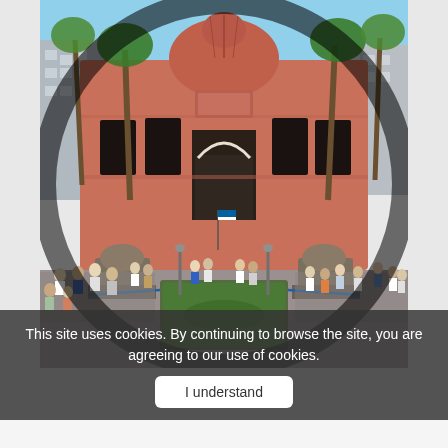[Figure (photo): Wide-angle fisheye photograph of the Egyptian Museum in Cairo (a large red/terracotta neoclassical building with a domed rotunda and arched entrance), taken from the front courtyard. A large crowd of visitors fills the plaza in front of the museum. There is a rectangular fountain garden in the foreground, palm trees on both sides, and modern city buildings visible in the background against a clear blue sky. Two sphinx-like statues flank the central pathway.]
This site uses cookies. By continuing to browse the site, you are agreeing to our use of cookies.
I understand